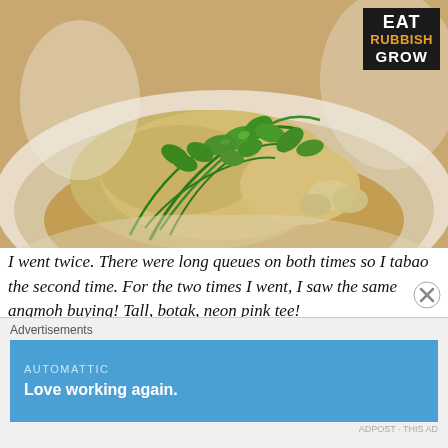[Figure (photo): Close-up photo of Hainanese chicken rice dish in a bowl - poached chicken with cilantro/coriander herbs and garlic on top, in a golden broth, on a white plate]
I went twice. There were long queues on both times so I tabao the second time. For the two times I went, I saw the same angmoh buying! Tall, botak, neon pink tee!
Chicken: Seasoned overly salty, but I like salty. 6.25/10
[partially visible line cut off by ad overlay]
Advertisements
[Figure (screenshot): Automattic advertisement banner with text 'Love working again.' on blue background]